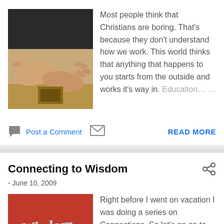Most people think that Christians are boring. That's because they don't understand how we work. This world thinks that anything that happens to you starts from the outside and works it's way in. Education…
Post a Comment
READ MORE
Connecting to Wisdom
- June 10, 2009
Right before I went on vacation I was doing a series on Connections. So let's go on to the next connection - wisdom. Most people believe that if you read more, go to school,